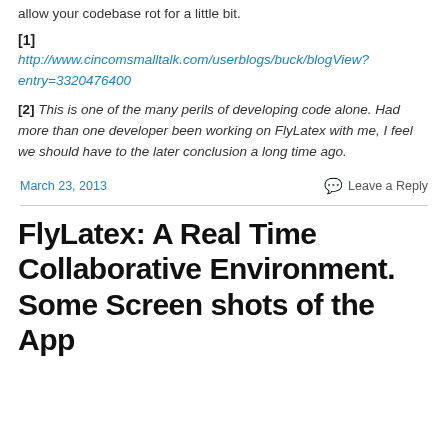allow your codebase rot for a little bit.
[1]
http://www.cincomsmalltalk.com/userblogs/buck/blogView?entry=3320476400
[2] This is one of the many perils of developing code alone. Had more than one developer been working on FlyLatex with me, I feel we should have to the later conclusion a long time ago.
March 23, 2013
Leave a Reply
FlyLatex: A Real Time Collaborative Environment. Some Screen shots of the App